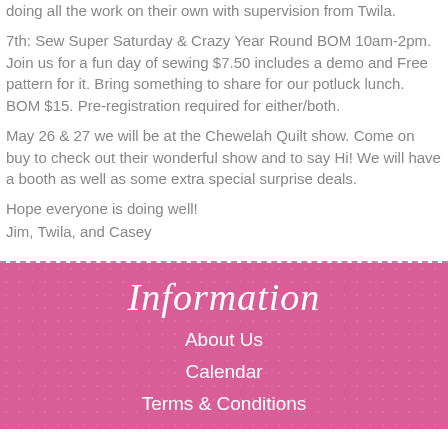doing all the work on their own with supervision from Twila.
7th: Sew Super Saturday & Crazy Year Round BOM 10am-2pm. Join us for a fun day of sewing $7.50 includes a demo and Free pattern for it. Bring something to share for our potluck lunch. BOM $15. Pre-registration required for either/both.
May 26 & 27 we will be at the Chewelah Quilt show. Come on buy to check out their wonderful show and to say Hi! We will have a booth as well as some extra special surprise deals.
Hope everyone is doing well!
Jim, Twila, and Casey
Information
About Us
Calendar
Terms & Conditions